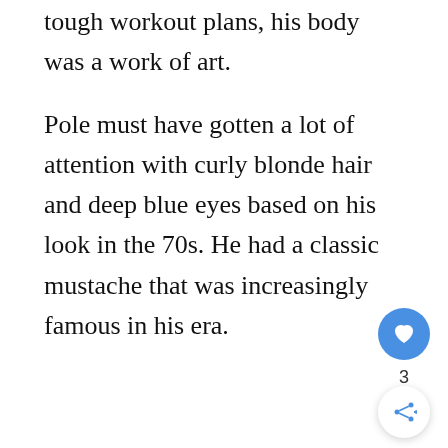tough workout plans, his body was a work of art.
Pole must have gotten a lot of attention with curly blonde hair and deep blue eyes based on his look in the 70s. He had a classic mustache that was increasingly famous in his era.